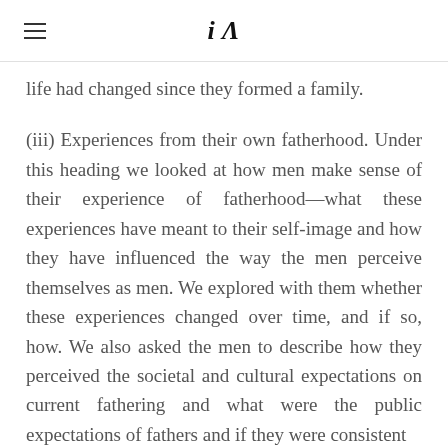iA
life had changed since they formed a family.
(iii) Experiences from their own fatherhood. Under this heading we looked at how men make sense of their experience of fatherhood—what these experiences have meant to their self-image and how they have influenced the way the men perceive themselves as men. We explored with them whether these experiences changed over time, and if so, how. We also asked the men to describe how they perceived the societal and cultural expectations on current fathering and what were the public expectations of fathers and if they were consistent